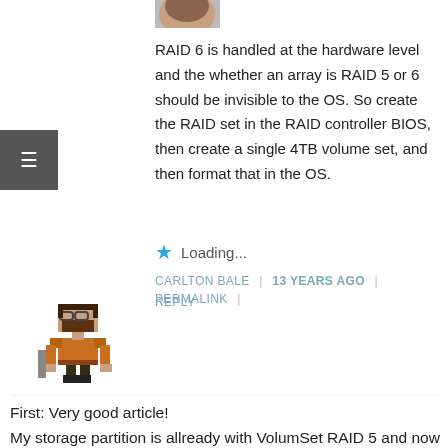[Figure (photo): Partial avatar/profile photo at top, cropped]
RAID 6 is handled at the hardware level and the whether an array is RAID 5 or 6 should be invisible to the OS. So create the RAID set in the RAID controller BIOS, then create a single 4TB volume set, and then format that in the OS.
★ Loading...
CARLTON BALE | 13 YEARS AGO | PERMALINK | REPLY
[Figure (illustration): Pixel art avatar of a bearded warrior character]
First: Very good article!
My storage partition is allready with VolumSet RAID 5 and now I wanted to extend it (from 2TB to 3TB) (4 HD -> 1GB each) and so I run into this problem (and found your page g*)